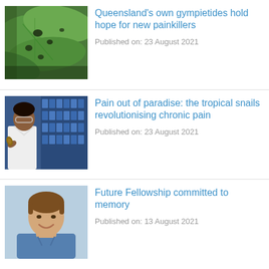[Figure (photo): Close-up photo of large green leaves with holes and damage, possibly from a gympi plant]
Queensland's own gympietides hold hope for new painkillers
Published on: 23 August 2021
[Figure (photo): Female scientist in white lab coat and safety glasses examining a cone snail in a laboratory setting with blue storage shelves in background]
Pain out of paradise: the tropical snails revolutionising chronic pain
Published on: 23 August 2021
[Figure (photo): Smiling young male researcher in blue shirt against light blue background]
Future Fellowship committed to memory
Published on: 13 August 2021